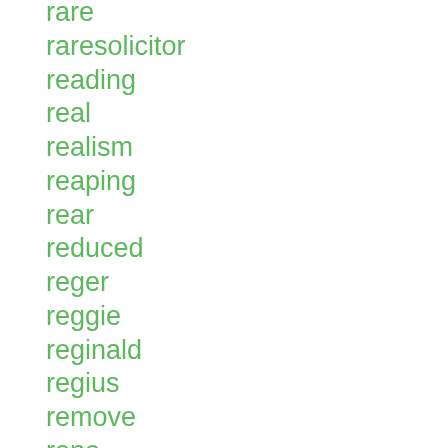rare
raresolicitor
reading
real
realism
reaping
rear
reduced
reger
reggie
reginald
regius
remove
rene
renowned
revolutionary